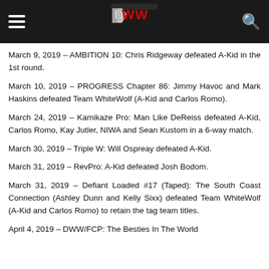DWW logo and navigation header
March 9, 2019 – AMBITION 10: Chris Ridgeway defeated A-Kid in the 1st round.
March 10, 2019 – PROGRESS Chapter 86: Jimmy Havoc and Mark Haskins defeated Team WhiteWolf (A-Kid and Carlos Romo).
March 24, 2019 – Kamikaze Pro: Man Like DeReiss defeated A-Kid, Carlos Romo, Kay Jutler, NIWA and Sean Kustom in a 6-way match.
March 30, 2019 – Triple W: Will Ospreay defeated A-Kid.
March 31, 2019 – RevPro: A-Kid defeated Josh Bodom.
March 31, 2019 – Defiant Loaded #17 (Taped): The South Coast Connection (Ashley Dunn and Kelly Sixx) defeated Team WhiteWolf (A-Kid and Carlos Romo) to retain the tag team titles.
April 4, 2019 – DWW/FCP: The Besties In The World